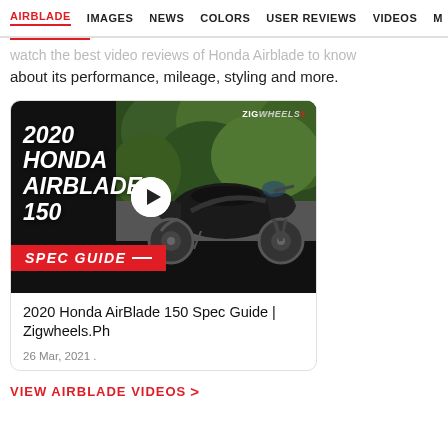AIRBLADE  IMAGES  NEWS  COLORS  USER REVIEWS  VIDEOS  M
Watch the best video reviews of Honda Airblade to know about its performance, mileage, styling and more.
[Figure (screenshot): Video thumbnail for '2020 Honda AirBlade 150 Spec Guide | Zigwheels.Ph' — dark background with white italic bold text '2020 HONDA AIRBLADE 150', a play button circle in the center, a black Honda scooter on the right, a red 'SPEC GUIDE' banner at the bottom left, and the Zigwheels logo in the top right corner.]
2020 Honda AirBlade 150 Spec Guide | Zigwheels.Ph
26 Mar, 2021 .
VIEW AIRBLADE VIDEOS >